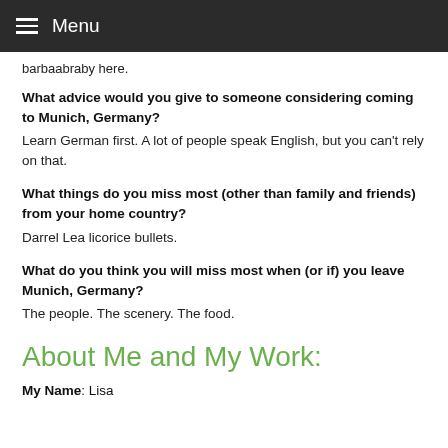Menu
barbaabraby here.
What advice would you give to someone considering coming to Munich, Germany?
Learn German first. A lot of people speak English, but you can't rely on that.
What things do you miss most (other than family and friends) from your home country?
Darrel Lea licorice bullets.
What do you think you will miss most when (or if) you leave Munich, Germany?
The people. The scenery. The food.
About Me and My Work:
My Name: Lisa